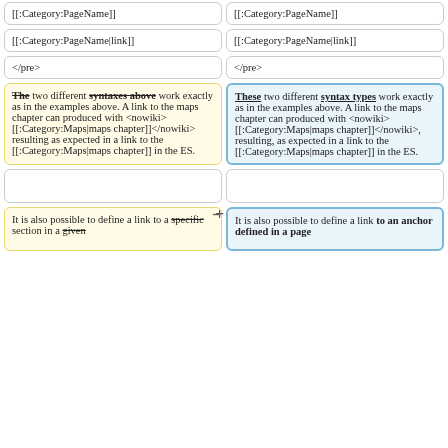[[:Category:PageName]]
[[:Category:PageName]]
[[:Category:PageName|link]]
[[:Category:PageName|link]]
</pre>
</pre>
The two different syntaxes above work exactly as in the examples above. A link to the maps chapter can produced with <nowiki> [[:Category:Maps|maps chapter]]</nowiki> resulting as expected in a link to the [[:Category:Maps|maps chapter]] in the ES.
These two different syntax types work exactly as in the examples above. A link to the maps chapter can produced with <nowiki> [[:Category:Maps|maps chapter]]</nowiki>, resulting, as expected in a link to the [[:Category:Maps|maps chapter]] in the ES.
It is also possible to define a link to a specific section in a given...
It is also possible to define a link to an anchor defined in a page...